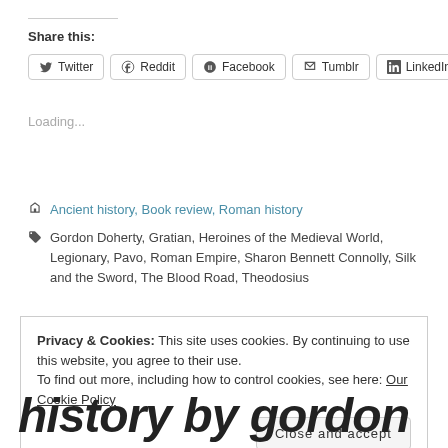Share this:
Twitter  Reddit  Facebook  Tumblr  LinkedIn
Loading...
Ancient history, Book review, Roman history
Gordon Doherty, Gratian, Heroines of the Medieval World, Legionary, Pavo, Roman Empire, Sharon Bennett Connolly, Silk and the Sword, The Blood Road, Theodosius
Privacy & Cookies: This site uses cookies. By continuing to use this website, you agree to their use.
To find out more, including how to control cookies, see here: Our Cookie Policy
Close and accept
history by gordon